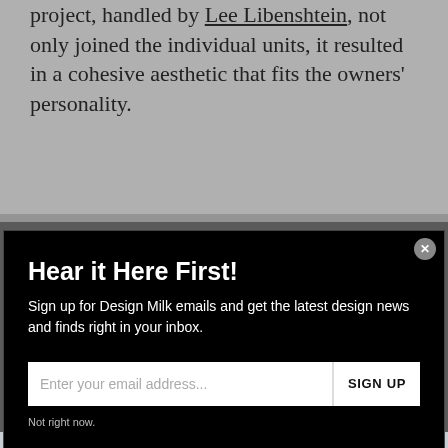project, handled by Lee Libenshtein, not only joined the individual units, it resulted in a cohesive aesthetic that fits the owners' personality.
[Figure (screenshot): Email newsletter signup modal overlay on dark background. Title: 'Hear it Here First!'. Subtitle: 'Sign up for Design Milk emails and get the latest design news and finds right in your inbox.' Input field: 'Enter your email address...' with SIGN UP button. 'Not right now.' dismissal link. Close button (X) in top right corner.]
[Figure (photo): Partially visible interior architecture photo showing what appears to be a modern building or apartment interior with glass and geometric elements in grey tones.]
[Figure (infographic): Made Cozy banner at bottom of page with large white text 'Made Cozy' and decorative pillows/cushions graphic on the right side.]